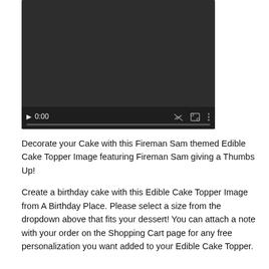[Figure (screenshot): Embedded video player with dark background showing a paused video at 0:00 with playback controls including play button, timestamp, mute icon, fullscreen icon, and more options icon, and a progress bar at the bottom.]
Decorate your Cake with this Fireman Sam themed Edible Cake Topper Image featuring Fireman Sam giving a Thumbs Up!
Create a birthday cake with this Edible Cake Topper Image from A Birthday Place. Please select a size from the dropdown above that fits your dessert! You can attach a note with your order on the Shopping Cart page for any free personalization you want added to your Edible Cake Topper.